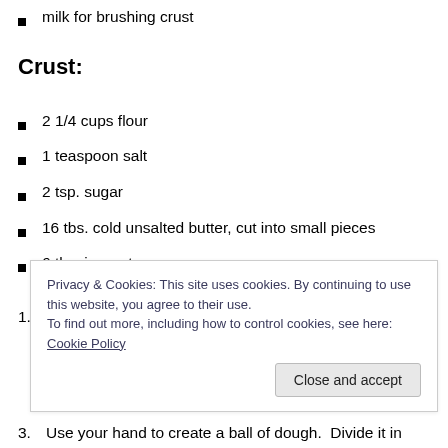milk for brushing crust
Crust:
2 1/4 cups flour
1 teaspoon salt
2 tsp. sugar
16 tbs. cold unsalted butter, cut into small pieces
6 tbs. ice water
1. First, prepare the crust. In a food processor combine
Privacy & Cookies: This site uses cookies. By continuing to use this website, you agree to their use. To find out more, including how to control cookies, see here: Cookie Policy
3. Use your hand to create a ball of dough.  Divide it in